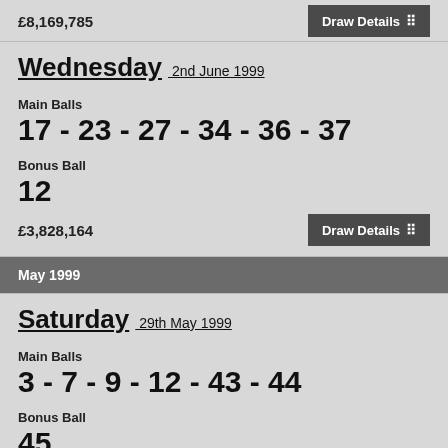£8,169,785
Wednesday 2nd June 1999
Main Balls
17 - 23 - 27 - 34 - 36 - 37
Bonus Ball
12
£3,828,164
May 1999
Saturday 29th May 1999
Main Balls
3 - 7 - 9 - 12 - 43 - 44
Bonus Ball
45
£10,611,918